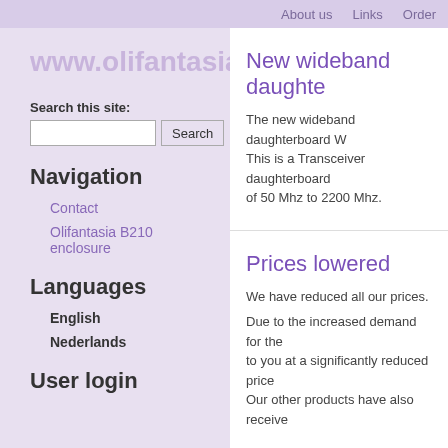About us   Links   Order
www.olifantasia.eu
Search this site:
Navigation
Contact
Olifantasia B210 enclosure
Languages
English
Nederlands
User login
New wideband daughte…
The new wideband daughterboard W… This is a Transceiver daughterboard… of 50 Mhz to 2200 Mhz.
Prices lowered
We have reduced all our prices.
Due to the increased demand for the… to you at a significantly reduced price… Our other products have also receive…